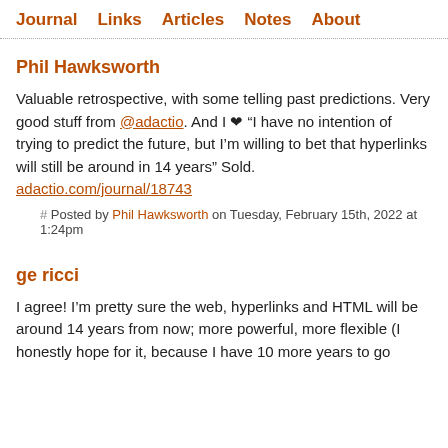Journal  Links  Articles  Notes  About
Phil Hawksworth
Valuable retrospective, with some telling past predictions. Very good stuff from @adactio. And I ❤ “I have no intention of trying to predict the future, but I’m willing to bet that hyperlinks will still be around in 14 years” Sold.
adactio.com/journal/18743
# Posted by Phil Hawksworth on Tuesday, February 15th, 2022 at 1:24pm
ge ricci
I agree! I’m pretty sure the web, hyperlinks and HTML will be around 14 years from now; more powerful, more flexible (I honestly hope for it, because I have 10 more years to go